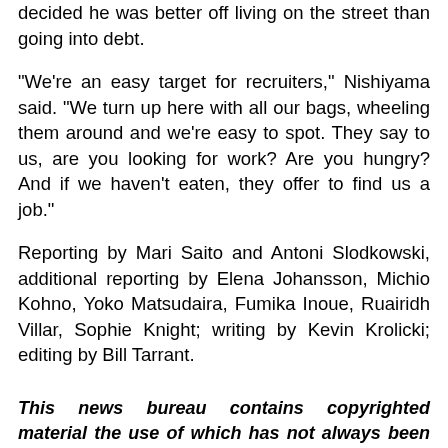decided he was better off living on the street than going into debt.
"We're an easy target for recruiters," Nishiyama said. "We turn up here with all our bags, wheeling them around and we're easy to spot. They say to us, are you looking for work? Are you hungry? And if we haven't eaten, they offer to find us a job."
Reporting by Mari Saito and Antoni Slodkowski, additional reporting by Elena Johansson, Michio Kohno, Yoko Matsudaira, Fumika Inoue, Ruairidh Villar, Sophie Knight; writing by Kevin Krolicki; editing by Bill Tarrant.
This news bureau contains copyrighted material the use of which has not always been specifically authorized by the copyright owner. We are making such material available in our efforts to advance understanding of environmental, political, human rights, economic, democracy, scientific, and social justice issues, etc. We believe this constitutes a 'fair use' of any such copyrighted